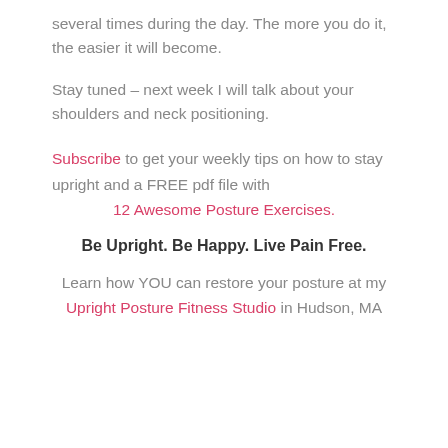several times during the day. The more you do it, the easier it will become.
Stay tuned – next week I will talk about your shoulders and neck positioning.
Subscribe to get your weekly tips on how to stay upright and a FREE pdf file with 12 Awesome Posture Exercises.
Be Upright. Be Happy. Live Pain Free.
Learn how YOU can restore your posture at my Upright Posture Fitness Studio in Hudson, MA